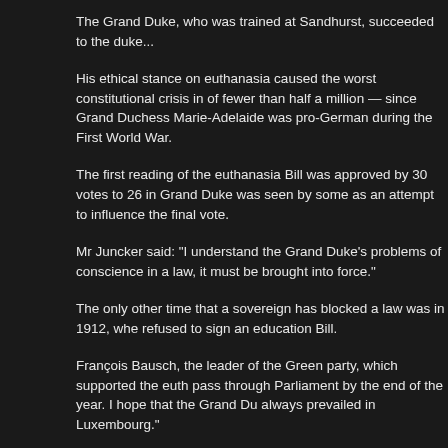The Grand Duke, who was trained at Sandhurst, succeeded to the duke...
His ethical stance on euthanasia caused the worst constitutional crisis in of fewer than half a million — since Grand Duchess Marie-Adelaide was pro-German during the First World War.
The first reading of the euthanasia Bill was approved by 30 votes to 26 in Grand Duke was seen by some as an attempt to influence the final vote.
Mr Juncker said: "I understand the Grand Duke's problems of conscience in a law, it must be brought into force."
The only other time that a sovereign has blocked a law was in 1912, whe refused to sign an education Bill.
François Bausch, the leader of the Green party, which supported the euth pass through Parliament by the end of the year. I hope that the Grand Du always prevailed in Luxembourg."
Privilege and power
— In Europe there are only 12 monarchies left, including seven kingdom Vatican
— Juan Carlos of Spain became King upon Franco's death in 1975...